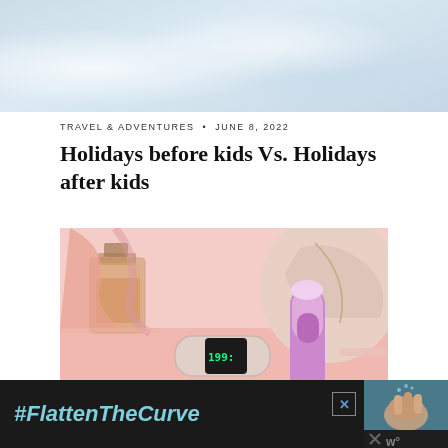[Figure (photo): Shimmery light blue/silver background, bokeh glitter texture]
TRAVEL & ADVENTURES • JUNE 8, 2022
Holidays before kids Vs. Holidays after kids
[Figure (photo): Pink vanity table with perfume bottle, fitness tracker/smartwatch, and pink beauty device]
[Figure (photo): Advertisement banner: #FlattenTheCurve with image of hands washing]